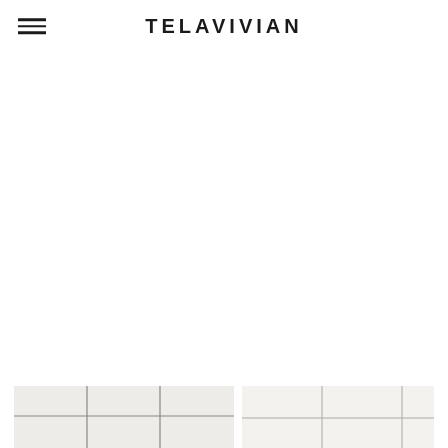TELAVIVIAN
[Figure (photo): Two partial photos of white square tiles with grey grout lines visible at the bottom of the page, cropped at the bottom edge.]